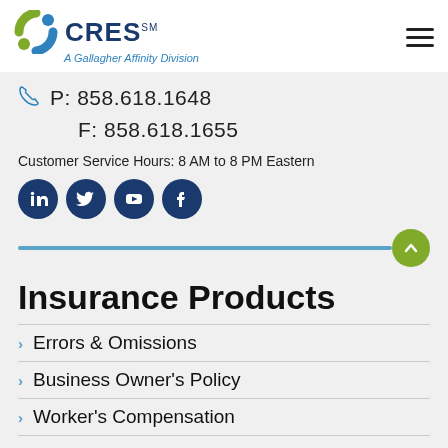[Figure (logo): CRES logo with circular swoosh icon in green/blue, text 'CRES SM' in dark blue, subtitle 'A Gallagher Affinity Division' in blue italic]
P: 858.618.1648
F: 858.618.1655
Customer Service Hours: 8 AM to 8 PM Eastern
[Figure (other): Social media icons: LinkedIn, Twitter, YouTube, Facebook — dark blue circles with white icons]
Insurance Products
Errors & Omissions
Business Owner's Policy
Worker's Compensation